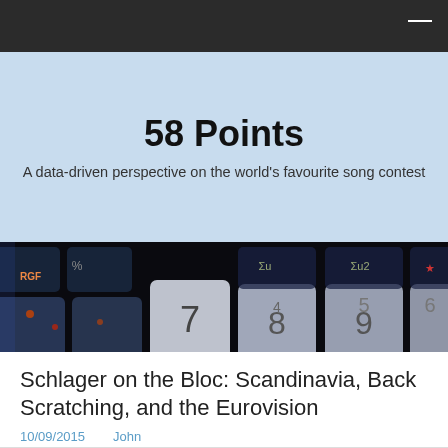58 Points — navigation bar
58 Points
A data-driven perspective on the world's favourite song contest
[Figure (photo): Close-up photograph of a computer keyboard with colourful backlit keys showing numbers and symbols including 7, 8, 9, 5, 6 and function keys]
Schlager on the Bloc: Scandinavia, Back Scratching, and the Eurovision
10/09/2015    John